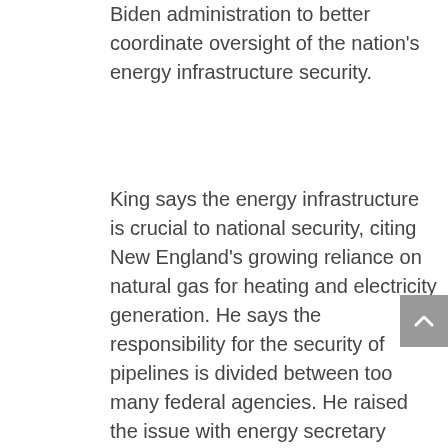Biden administration to better coordinate oversight of the nation's energy infrastructure security.
King says the energy infrastructure is crucial to national security, citing New England's growing reliance on natural gas for heating and electricity generation. He says the responsibility for the security of pipelines is divided between too many federal agencies. He raised the issue with energy secretary Jennifer Granholm the issue with Energy Secretary Jennifer Granholm during a hearing Tuesday of the Senate Energy and Natural Resources Committee.